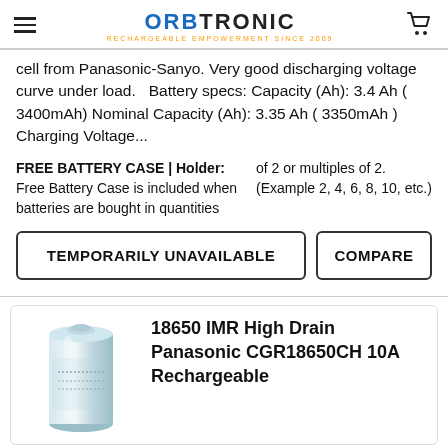ORBTRONIC — RECHARGEABLE EMPOWERMENT SINCE 2009
cell from Panasonic-Sanyo. Very good discharging voltage curve under load.   Battery specs: Capacity (Ah): 3.4 Ah ( 3400mAh) Nominal Capacity (Ah): 3.35 Ah ( 3350mAh ) Charging Voltage...
FREE BATTERY CASE | Holder:  Free Battery Case is included when batteries are bought in quantities of 2 or multiples of 2. (Example 2, 4, 6, 8, 10, etc.)
TEMPORARILY UNAVAILABLE   COMPARE
18650 IMR High Drain Panasonic CGR18650CH 10A Rechargeable